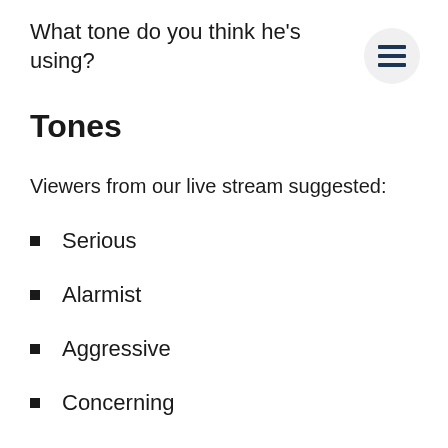What tone do you think he's using?
Tones
Viewers from our live stream suggested:
Serious
Alarmist
Aggressive
Concerning
Urgent